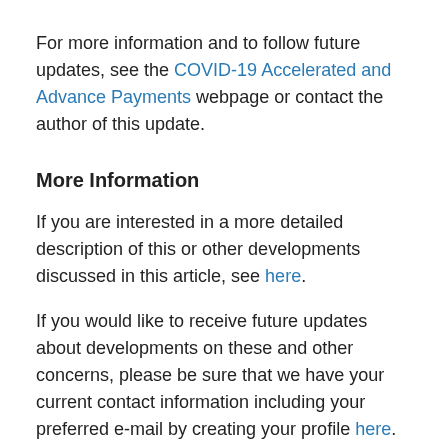For more information and to follow future updates, see the COVID-19 Accelerated and Advance Payments webpage or contact the author of this update.
More Information
If you are interested in a more detailed description of this or other developments discussed in this article, see here.
If you would like to receive future updates about developments on these and other concerns, please be sure that we have your current contact information including your preferred e-mail by creating your profile here.  For specific information or counsel about the these or other legal, management or public policy developments,  Ms. Stamer's work, experience, involvements, other publications, or programs, contact